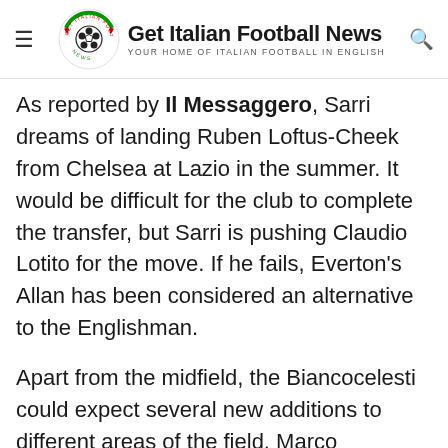Get Italian Football News — YOUR HOME OF ITALIAN FOOTBALL IN ENGLISH
As reported by Il Messaggero, Sarri dreams of landing Ruben Loftus-Cheek from Chelsea at Lazio in the summer. It would be difficult for the club to complete the transfer, but Sarri is pushing Claudio Lotito for the move. If he fails, Everton's Allan has been considered an alternative to the Englishman.
Apart from the midfield, the Biancocelesti could expect several new additions to different areas of the field. Marco Carnesecchi, who was on loan at Cremonese from Atalanta, remains the top priority for the former Scudetto winner with Juventus.